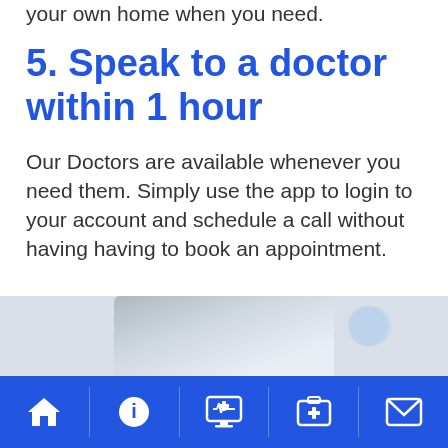your own home when you need.
5. Speak to a doctor within 1 hour
Our Doctors are available whenever you need them. Simply use the app to login to your account and schedule a call without having having to book an appointment.
[Figure (photo): Partial photo of a building/home visible at the bottom of the content area, with a light blue circle element in the background]
Navigation bar with home, info, medical monitor, first-aid kit, and mail icons